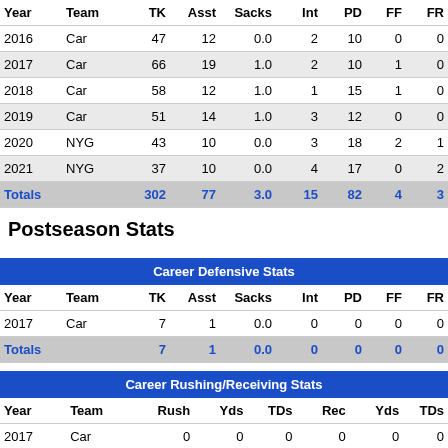| Year | Team | TK | Asst | Sacks | Int | PD | FF | FR |
| --- | --- | --- | --- | --- | --- | --- | --- | --- |
| 2016 | Car | 47 | 12 | 0.0 | 2 | 10 | 0 | 0 |
| 2017 | Car | 66 | 19 | 1.0 | 2 | 10 | 1 | 0 |
| 2018 | Car | 58 | 12 | 1.0 | 1 | 15 | 1 | 0 |
| 2019 | Car | 51 | 14 | 1.0 | 3 | 12 | 0 | 0 |
| 2020 | NYG | 43 | 10 | 0.0 | 3 | 18 | 2 | 1 |
| 2021 | NYG | 37 | 10 | 0.0 | 4 | 17 | 0 | 2 |
| Totals |  | 302 | 77 | 3.0 | 15 | 82 | 4 | 3 |
Postseason Stats
| Career Defensive Stats |
| --- |
| Year | Team | TK | Asst | Sacks | Int | PD | FF | FR |
| 2017 | Car | 7 | 1 | 0.0 | 0 | 0 | 0 | 0 |
| Totals |  | 7 | 1 | 0.0 | 0 | 0 | 0 | 0 |
| Career Rushing/Receiving Stats |
| --- |
| Year | Team | Rush | Yds | TDs | Rec | Yds | TDs |
| 2017 | Car | 0 | 0 | 0 | 0 | 0 | 0 |